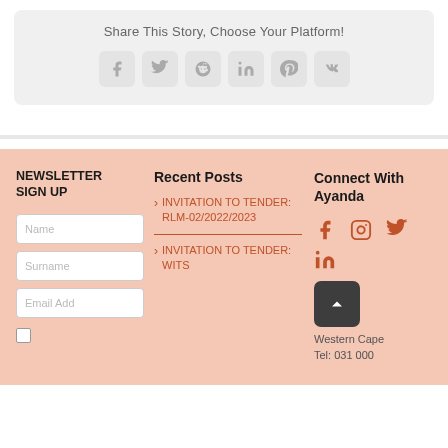Share This Story, Choose Your Platform!
[Figure (infographic): Row of 6 social media share buttons: Facebook, Twitter, Reddit, LinkedIn, Pinterest, VK — light gray rounded square buttons with gray icons]
NEWSLETTER SIGN UP
[Figure (infographic): Newsletter signup form with Name, Surname, Email Address input fields and a checkbox]
Recent Posts
INVITATION TO TENDER: RLM-02/2022/2023
INVITATION TO TENDER: WITS
Connect With Ayanda
[Figure (infographic): Social media icons: Facebook, Instagram, Twitter, LinkedIn in orange/terracotta color]
Western Cape
Tel: 031 000